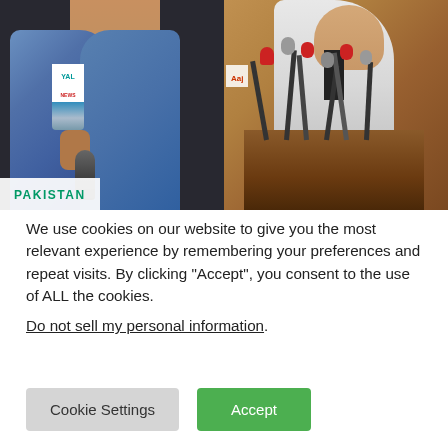[Figure (photo): Two photos side by side: left - man in blue suit holding microphone with 'YAL' mic branding; right - elderly man at podium with multiple microphones raising hand. 'PAKISTAN' badge visible on left photo.]
We use cookies on our website to give you the most relevant experience by remembering your preferences and repeat visits. By clicking “Accept”, you consent to the use of ALL the cookies.
Do not sell my personal information.
Cookie Settings
Accept